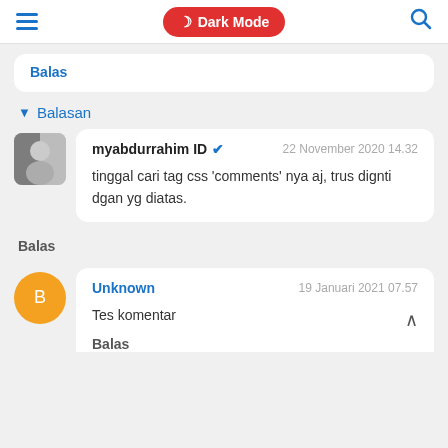≡  Dark Mode  🔍
Balas
▼ Balasan
myabdurrahim ID ✓  22 November 2020 14.32
tinggal cari tag css 'comments' nya aj, trus dignti dgan yg diatas.
Balas
Unknown  19 Januari 2021 07.57
Tes komentar
Balas